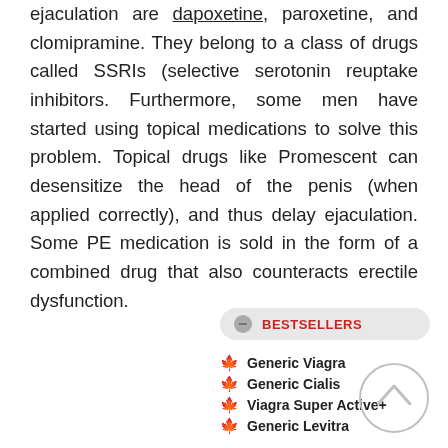ejaculation are dapoxetine, paroxetine, and clomipramine. They belong to a class of drugs called SSRIs (selective serotonin reuptake inhibitors. Furthermore, some men have started using topical medications to solve this problem. Topical drugs like Promescent can desensitize the head of the penis (when applied correctly), and thus delay ejaculation. Some PE medication is sold in the form of a combined drug that also counteracts erectile dysfunction.
BESTSELLERS
Generic Viagra
Generic Cialis
Viagra Super Active+
Generic Levitra